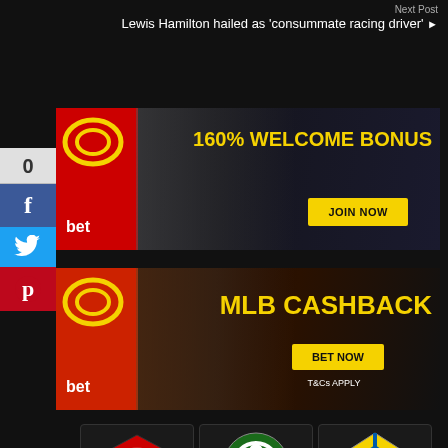Next Post
Lewis Hamilton hailed as 'consummate racing driver'
[Figure (screenshot): Dafabet 160% WELCOME BONUS - JOIN NOW banner ad with football players]
[Figure (screenshot): Dafabet MLB CASHBACK - BET NOW - T&Cs APPLY banner ad with baseball players]
[Figure (infographic): AFC Bournemouth club logo - OFFICIAL PARTNER]
[Figure (infographic): Celtic Football Club logo - OFFICIAL MAIN CLUB SPONSOR]
[Figure (infographic): Cadiz CF logo - OFFICIAL SPONSOR]
[Figure (infographic): Partial club logos row 2]